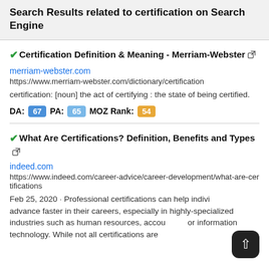Search Results related to certification on Search Engine
✔Certification Definition & Meaning - Merriam-Webster
merriam-webster.com
https://www.merriam-webster.com/dictionary/certification
certification: [noun] the act of certifying : the state of being certified.
DA: 67  PA: 65  MOZ Rank: 54
✔What Are Certifications? Definition, Benefits and Types
indeed.com
https://www.indeed.com/career-advice/career-development/what-are-certifications
Feb 25, 2020 · Professional certifications can help individuals advance faster in their careers, especially in highly-specialized industries such as human resources, accounting, or information technology. While not all certifications are